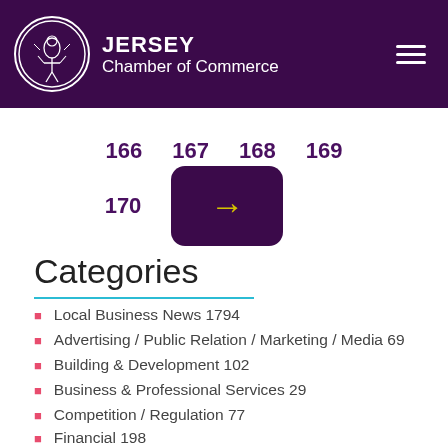JERSEY Chamber of Commerce
166  167  168  169
170  →
Categories
Local Business News 1794
Advertising / Public Relation / Marketing / Media 69
Building & Development 102
Business & Professional Services 29
Competition / Regulation 77
Financial 198